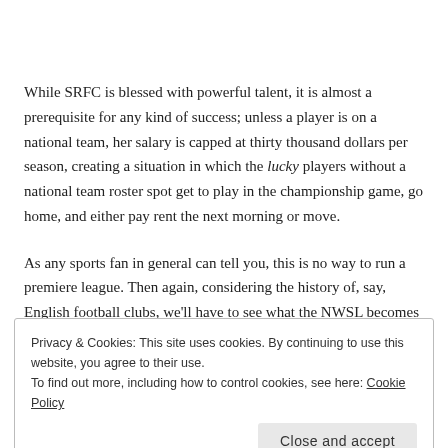While SRFC is blessed with powerful talent, it is almost a prerequisite for any kind of success; unless a player is on a national team, her salary is capped at thirty thousand dollars per season, creating a situation in which the lucky players without a national team roster spot get to play in the championship game, go home, and either pay rent the next morning or move.
As any sports fan in general can tell you, this is no way to run a premiere league. Then again, considering the history of, say, English football clubs, we'll have to see what the NWSL becomes over the course of the next century.
Privacy & Cookies: This site uses cookies. By continuing to use this website, you agree to their use.
To find out more, including how to control cookies, see here: Cookie Policy
Close and accept
round